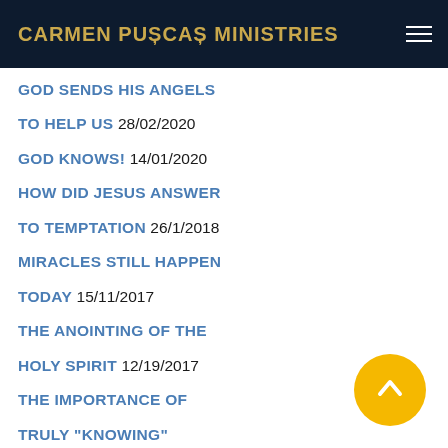CARMEN PUȘCAȘ MINISTRIES
GOD SENDS HIS ANGELS
TO HELP US 28/02/2020
GOD KNOWS! 14/01/2020
HOW DID JESUS ANSWER
TO TEMPTATION 26/1/2018
MIRACLES STILL HAPPEN
TODAY 15/11/2017
THE ANOINTING OF THE
HOLY SPIRIT 12/19/2017
THE IMPORTANCE OF
TRULY "KNOWING"
GOD 21/7/2016
THE SEAL OF THE HOLY